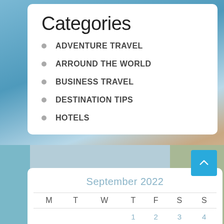Categories
ADVENTURE TRAVEL
ARROUND THE WORLD
BUSINESS TRAVEL
DESTINATION TIPS
HOTELS
[Figure (photo): Beach vacation scene with tropical resort, ocean water, sandy beach, and person relaxing]
| M | T | W | T | F | S | S |
| --- | --- | --- | --- | --- | --- | --- |
|  |  |  | 1 | 2 | 3 | 4 |